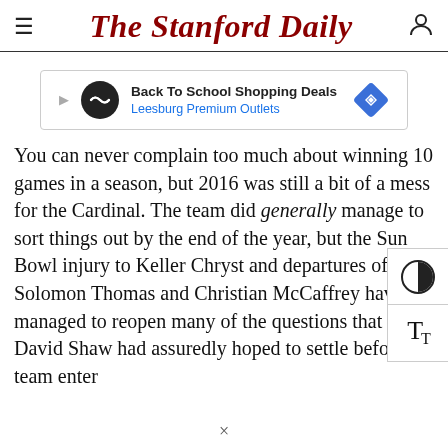The Stanford Daily
[Figure (other): Advertisement banner for Leesburg Premium Outlets: Back To School Shopping Deals]
You can never complain too much about winning 10 games in a season, but 2016 was still a bit of a mess for the Cardinal. The team did generally manage to sort things out by the end of the year, but the Sun Bowl injury to Keller Chryst and departures of Solomon Thomas and Christian McCaffrey have managed to reopen many of the questions that David Shaw had assuredly hoped to settle before his team enter